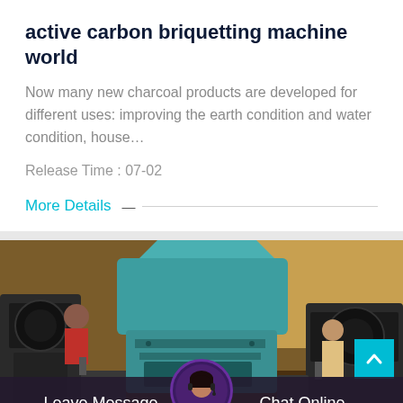active carbon briquetting machine world
Now many new charcoal products are developed for different uses: improving the earth condition and water condition, house…
Release Time : 07-02
More Details
[Figure (photo): Industrial briquetting machines in a factory setting, teal/green colored machines with workers visible in background]
Leave Message
Chat Online